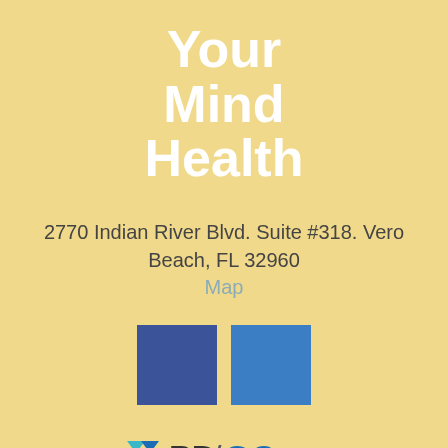Your Mind Health
2770 Indian River Blvd. Suite #318. Vero Beach, FL 32960
Map
[Figure (logo): Two social media icon squares: Facebook (dark blue) and LinkedIn (medium blue)]
[Figure (logo): PD/GO Digital Marketing logo with arrow chevrons in cyan/blue and text PD/GO DIGITAL MARKETING]
© 2022 YourMindHealth
All Rights Reserved